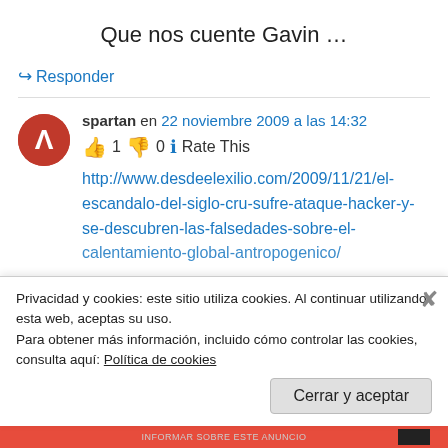Que nos cuente Gavin …
↪ Responder
spartan en 22 noviembre 2009 a las 14:32
👍 1 👎 0 ℹ Rate This
http://www.desdeelexilio.com/2009/11/21/el-escandalo-del-siglo-cru-sufre-ataque-hacker-y-se-descubren-las-falsedades-sobre-el-calentamiento-global-antropogenico/
Privacidad y cookies: este sitio utiliza cookies. Al continuar utilizando esta web, aceptas su uso.
Para obtener más información, incluido cómo controlar las cookies, consulta aquí: Política de cookies
Cerrar y aceptar